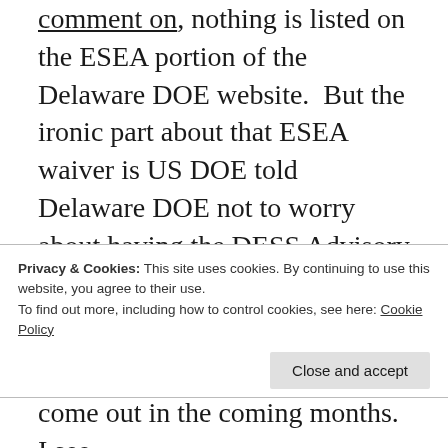comment on, nothing is listed on the ESEA portion of the Delaware DOE website.  But the ironic part about that ESEA waiver is US DOE told Delaware DOE not to worry about having the DESS Advisory Committee comment on it, even though that is required by law.  So we have US DOE telling us to break the law and don't worry about it, but they want us to submit this ESEA waiver even
Privacy & Cookies: This site uses cookies. By continuing to use this website, you agree to their use.
To find out more, including how to control cookies, see here: Cookie Policy
come out in the coming months.  I see